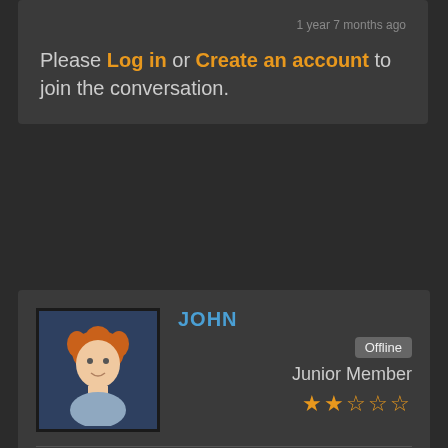1 year 7 months ago
Please Log in or Create an account to join the conversation.
[Figure (illustration): User avatar of John — cartoon face with orange hair on dark blue background]
JOHN
Offline
Junior Member
★★☆☆☆ (2 stars out of 5)
Posts: 26
Thank you received: 2
Replied by John on topic  #70854